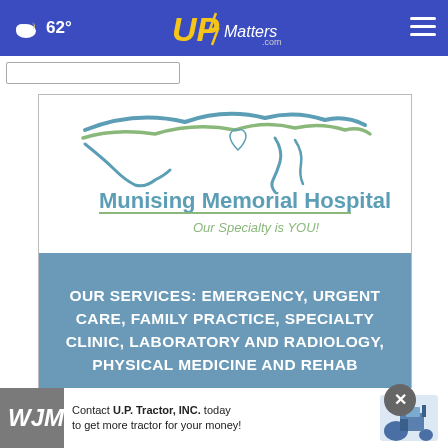62° — UPMatters.com
[Figure (logo): Munising Memorial Hospital logo with Upper Peninsula of Michigan outline and tagline 'Our Specialty is YOU!']
OUR SERVICES: EMERGENCY, URGENT CARE, FAMILY PRACTICE, SPECIALTY CLINIC, LABORATORY AND RADIOLOGY, PHYSICAL MEDICINE AND REHAB
[Figure (logo): U.P. Tractor, INC. advertisement banner: 'Contact U.P. Tractor, INC. today to get more tractor for your money!' with tractor image]